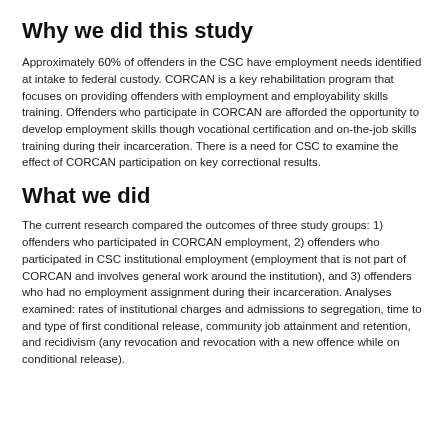Why we did this study
Approximately 60% of offenders in the CSC have employment needs identified at intake to federal custody. CORCAN is a key rehabilitation program that focuses on providing offenders with employment and employability skills training. Offenders who participate in CORCAN are afforded the opportunity to develop employment skills though vocational certification and on-the-job skills training during their incarceration. There is a need for CSC to examine the effect of CORCAN participation on key correctional results.
What we did
The current research compared the outcomes of three study groups: 1) offenders who participated in CORCAN employment, 2) offenders who participated in CSC institutional employment (employment that is not part of CORCAN and involves general work around the institution), and 3) offenders who had no employment assignment during their incarceration. Analyses examined: rates of institutional charges and admissions to segregation, time to and type of first conditional release, community job attainment and retention, and recidivism (any revocation and revocation with a new offence while on conditional release).